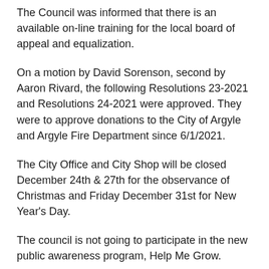The Council was informed that there is an available on-line training for the local board of appeal and equalization.
On a motion by David Sorenson, second by Aaron Rivard, the following Resolutions 23-2021 and Resolutions 24-2021 were approved. They were to approve donations to the City of Argyle and Argyle Fire Department since 6/1/2021.
The City Office and City Shop will be closed December 24th & 27th for the observance of Christmas and Friday December 31st for New Year's Day.
The council is not going to participate in the new public awareness program, Help Me Grow.
Motion by Tony Deschene, second by Aaron Rivard,